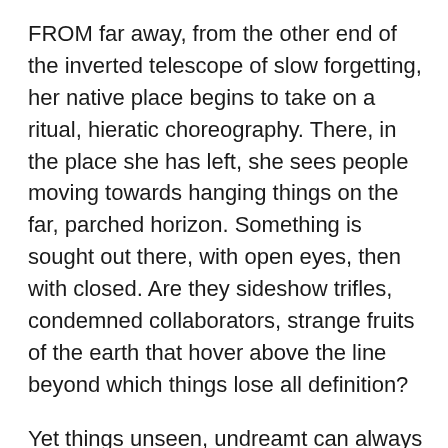FROM far away, from the other end of the inverted telescope of slow forgetting, her native place begins to take on a ritual, hieratic choreography. There, in the place she has left, she sees people moving towards hanging things on the far, parched horizon. Something is sought out there, with open eyes, then with closed. Are they sideshow trifles, condemned collaborators, strange fruits of the earth that hover above the line beyond which things lose all definition?
Yet things unseen, undreamt can always be imagined, we are told by the bus-stop prophets, talk-show hosts, the weekend newspapers. There is a soundtrack to every revolution, to send it on its way, which can be ordered on request. The people move, again, two steps forward, then one back. A cautious, but steady progress. It is possible to